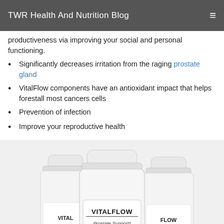TWR Health And Nutrition Blog
productiveness via improving your social and personal functioning.
Significantly decreases irritation from the raging prostate gland
VitalFlow components have an antioxidant impact that helps forestall most cancers cells
Prevention of infection
Improve your reproductive health
[Figure (photo): Three white supplement bottles labeled VITALFLOW Prostate Support, arranged side by side on a light gray background.]